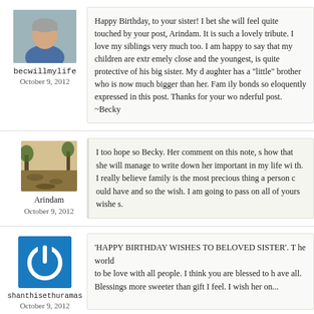[Figure (photo): Profile photo of becwillmylife - person with short gray hair in blue top]
becwillmylife
October 9, 2012
Happy Birthday, to your sister! I bet she will feel quite touched by your post, Arindam. It is such a lovely tribute. I love my siblings very much too. I am happy to say that my children are extremely close and the youngest, is quite protective of his big sister. My daughter has a "little" brother who is now much bigger than her. Family bonds so eloquently expressed in this post. Thanks for your wonderful post. ~Becky
[Figure (photo): Profile photo of Arindam - outdoor landscape scene]
Arindam
October 9, 2012
I too hope so Becky. Her comment on this note, show that she will manage to write down her important in my life with. I really believe family is the most precious thing a person can have and so the wish. I am going to pass on all of yours wishes.
[Figure (logo): Blue square icon with white power/circle symbol for shanthisethuramas]
shanthisethuramas
October 9, 2012
'HAPPY BIRTHDAY WISHES TO BELOVED SISTER'. The world
to be love with all people. I think you are blessed to have all.
Blessings more sweeter than gift I feel. I wish her on...